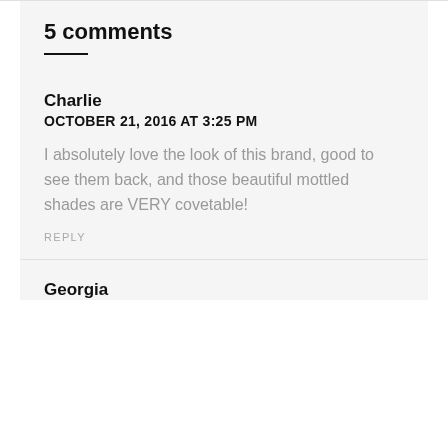5 comments
Charlie
OCTOBER 21, 2016 AT 3:25 PM

I absolutely love the look of this brand, good to see them back, and those beautiful mottled shades are VERY covetable!
REPLY
Georgia